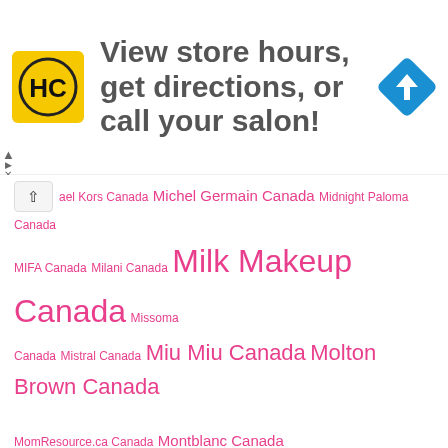[Figure (other): Advertisement banner: HC logo (black H and C letters in yellow square), text 'View store hours, get directions, or call your salon!', blue diamond map/directions icon]
ael Kors Canada Michel Germain Canada Midnight Paloma Canada MIFA Canada Milani Canada Milk Makeup Canada Missoma Canada Mistral Canada Miu Miu Canada Molton Brown Canada MomResource.ca Canada Montblanc Canada Moroccanoil Canada Morphe Canada Moschino Canada Mudmasky Canada Mugler Canada Murad Canada Museum of Ice Cream Canada Muskoka Mornings Canada MYTAGALONGS Canada NailMedic Canada Nailtural Canada Nair Canada Narciso Rodriguez Canada Nars Canada Natasha Denona Canada NativeRemedies Canada Natura Bissé Canada Natural Healthy Concepts Canada Naturally Serious Canada Nature's Path Canada NatureClean Canada Nature Collection Canada Nautica Canada Nayelle Skincare Canada Neiman Marcus Canada Nelson Naturals Canada Neostrata Canada